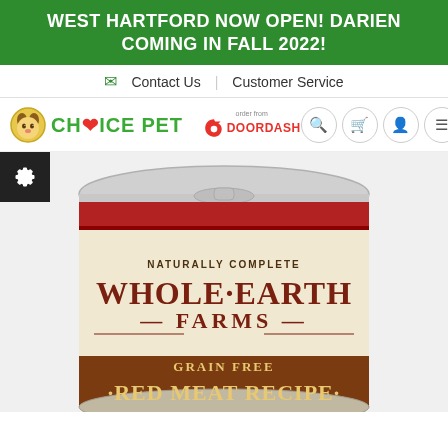WEST HARTFORD NOW OPEN! DARIEN COMING IN FALL 2022!
✉ Contact Us  Customer Service
[Figure (logo): Choice Pet logo with green text and dog face icon, DoorDash ordering logo, navigation icons for search, cart, user, and menu]
[Figure (photo): Whole Earth Farms Grain Free Red Meat Recipe canned dog food product image showing the top and label of the can]